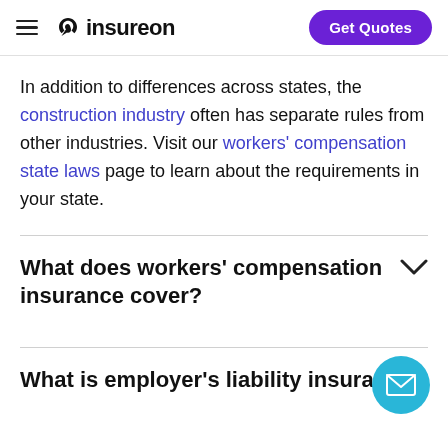insureon | Get Quotes
In addition to differences across states, the construction industry often has separate rules from other industries. Visit our workers' compensation state laws page to learn about the requirements in your state.
What does workers' compensation insurance cover?
What is employer's liability insurance?